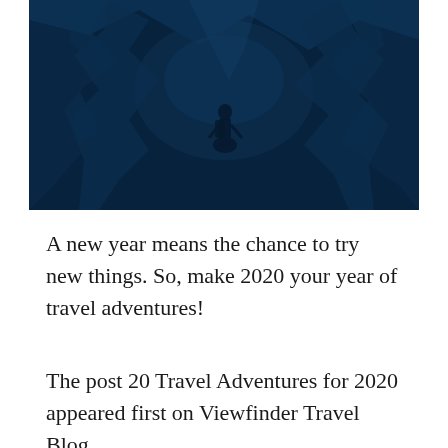[Figure (photo): Aerial or wide-angle photo of a climber/hiker in a rocky canyon or crevasse, scene heavily tinted dark blue, rocky walls surrounding a person with a backpack in the center]
A new year means the chance to try new things. So, make 2020 your year of travel adventures!
The post 20 Travel Adventures for 2020 appeared first on Viewfinder Travel Blog.